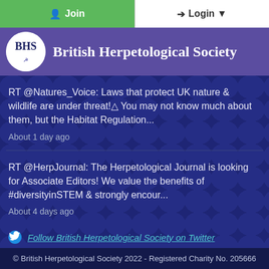Join | Login
British Herpetological Society
RT @Natures_Voice: Laws that protect UK nature & wildlife are under threat!⚠ You may not know much about them, but the Habitat Regulation...
About 1 day ago
RT @HerpJournal: The Herpetological Journal is looking for Associate Editors! We value the benefits of #diversityinSTEM & strongly encour...
About 4 days ago
Follow British Herpetological Society on Twitter
© British Herpetological Society 2022 - Registered Charity No. 205666